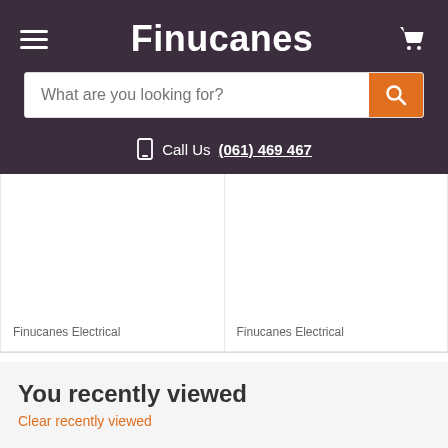Finucanes
What are you looking for?
Call Us  (061) 469 467
Finucanes Electrical
Finucanes Electrical
You recently viewed
Clear recently viewed